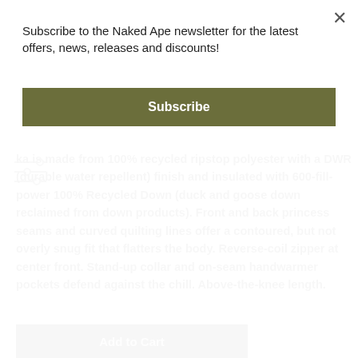ka is made from 100% recycled ripstop polyester with a DWR (durable water repellent) finish and insulated with 600-fill-power 100% Recycled Down (duck and goose down reclaimed from down products). Front and back princess seams and curved quilting lines offer a contoured, but not overly snug fit that flatters the body. Reverse-coil zipper at center front. Stand-up collar and on-seam handwarmer pockets defend against the chill. Above-the-knee length.
Subscribe to the Naked Ape newsletter for the latest offers, news, releases and discounts!
Subscribe
Add to Cart